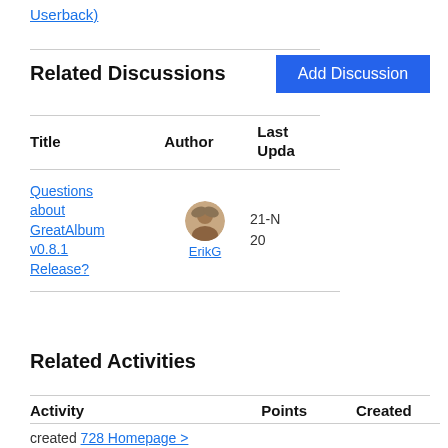Userback)
Related Discussions
Add Discussion
| Title | Author | Last Upda... |
| --- | --- | --- |
| Questions about GreatAlbum v0.8.1 Release? | ErikG | 21-N 20 |
Related Activities
| Activity | Points | Created |
| --- | --- | --- |
| created 728 Homepage > |  |  |